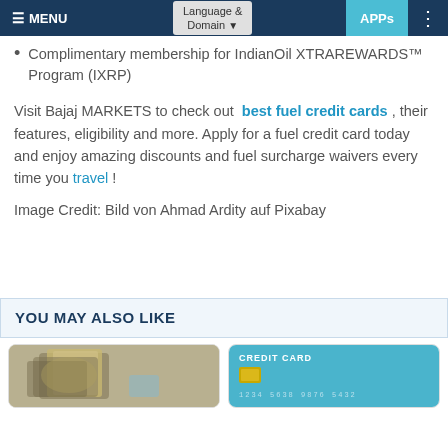MENU | Language & Domain | APPs
Complimentary membership for IndianOil XTRAREWARDS™ Program (IXRP)
Visit Bajaj MARKETS to check out best fuel credit cards , their features, eligibility and more. Apply for a fuel credit card today and enjoy amazing discounts and fuel surcharge waivers every time you travel !
Image Credit: Bild von Ahmad Ardity auf Pixabay
YOU MAY ALSO LIKE
[Figure (photo): Photo of rolled/folded currency bills]
[Figure (photo): Credit card illustration on blue background with text CREDIT CARD and card number 1234 5638 9876 5432]